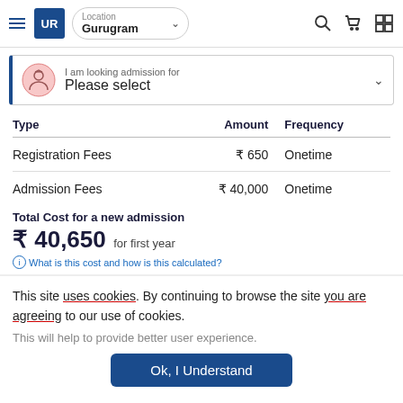UR Location Gurugram
I am looking admission for Please select
| Type | Amount | Frequency |
| --- | --- | --- |
| Registration Fees | ₹ 650 | Onetime |
| Admission Fees | ₹ 40,000 | Onetime |
Total Cost for a new admission ₹ 40,650 for first year ⓘ What is this cost and how is this calculated?
This site uses cookies. By continuing to browse the site you are agreeing to our use of cookies.
This will help to provide better user experience.
Ok, I Understand